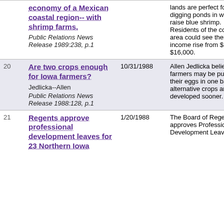| # | Title / Source | Date | Description |
| --- | --- | --- | --- |
|  | economy of a Mexican coastal region-- with shrimp farms.
Public Relations News Release 1989:238, p.1 |  | lands are perfect for digging ponds in which to raise blue shrimp. Residents of the coastal area could see their annual income rise from $500 to $16,000. |
| 20 | Are two crops enough for Iowa farmers?
Jedlicka--Allen
Public Relations News Release 1988:128, p.1 | 10/31/1988 | Allen Jedlicka believes farmers may be putting all their eggs in one basket if alternative crops are not developed sooner. |
| 21 | Regents approve professional development leaves for 23 Northern Iowa | 1/20/1988 | The Board of Regents approves Professional Development Leaves for UNI. Fi |